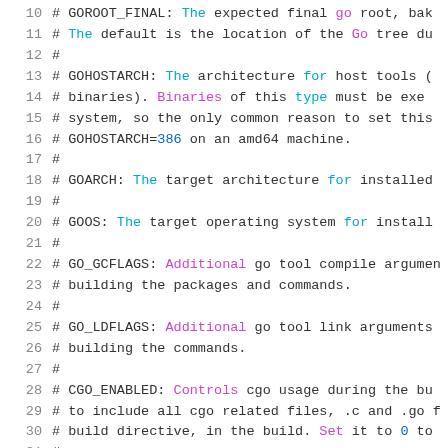Source code listing lines 10-31 of a Go build configuration Makefile, showing commented environment variable documentation for GOROOT_FINAL, GOHOSTARCH, GOARCH, GOOS, GO_GCFLAGS, GO_LDFLAGS, and CGO_ENABLED.